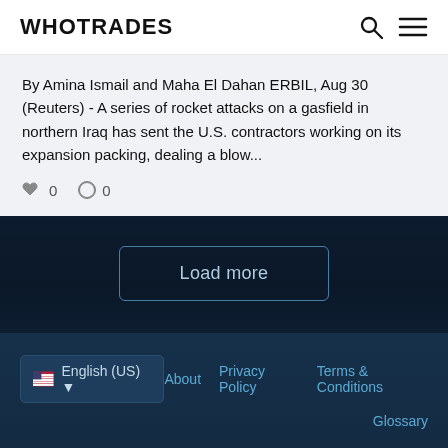WHOTRADES
By Amina Ismail and Maha El Dahan ERBIL, Aug 30 (Reuters) - A series of rocket attacks on a gasfield in northern Iraq has sent the U.S. contractors working on its expansion packing, dealing a blow...
👍 0   💬 0
Load more
English (US) ▼   About   Privacy Policy   Terms & Conditions   Glossary   © 2022 WhoTrades Ltd. All rights reserved.